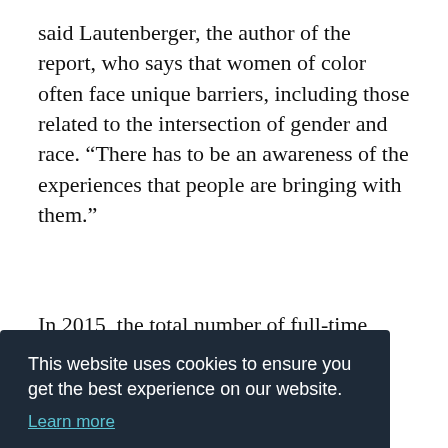said Lautenberger, the author of the report, who says that women of color often face unique barriers, including those related to the intersection of gender and race. “There has to be an awareness of the experiences that people are bringing with them.”
In 2015, the total number of full-time Black [faculty at research universities was] a [total of] 2,181. [They are described] as [a growing population and] While [their numbers have grown o]ver the last decade, they pale in comparison to
[Figure (screenshot): Cookie consent banner overlay with dark background (#1e2a38) containing text: 'This website uses cookies to ensure you get the best experience on our website.' with a 'Learn more' link and a teal 'Got it!' button.]